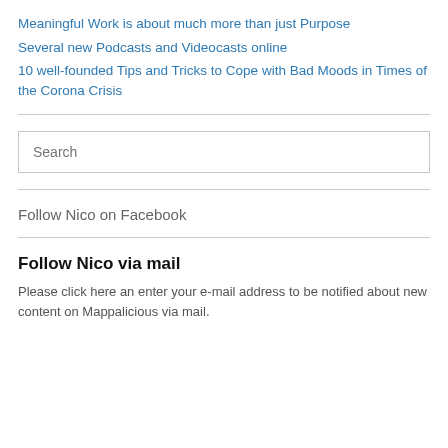Meaningful Work is about much more than just Purpose
Several new Podcasts and Videocasts online
10 well-founded Tips and Tricks to Cope with Bad Moods in Times of the Corona Crisis
Search
Follow Nico on Facebook
Follow Nico via mail
Please click here an enter your e-mail address to be notified about new content on Mappalicious via mail.